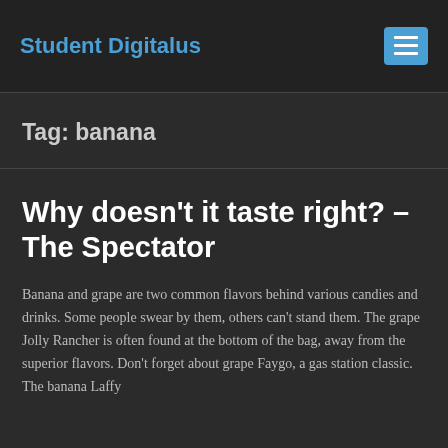Student Digitalus
Tag: banana
Why doesn't it taste right? – The Spectator
Banana and grape are two common flavors behind various candies and drinks. Some people swear by them, others can't stand them. The grape Jolly Rancher is often found at the bottom of the bag, away from the superior flavors. Don't forget about grape Faygo, a gas station classic. The banana Laffy